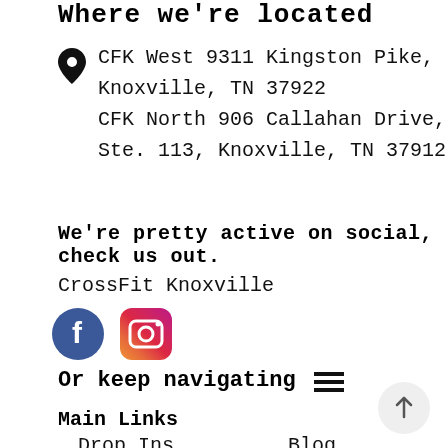Where we're located
CFK West 9311 Kingston Pike, Knoxville, TN 37922
CFK North 906 Callahan Drive, Ste. 113, Knoxville, TN 37912
We're pretty active on social, check us out.
CrossFit Knoxville
[Figure (logo): Facebook circular blue icon and Instagram pink/purple camera icon]
Or keep navigating
Main Links
Drop Ins
Blog